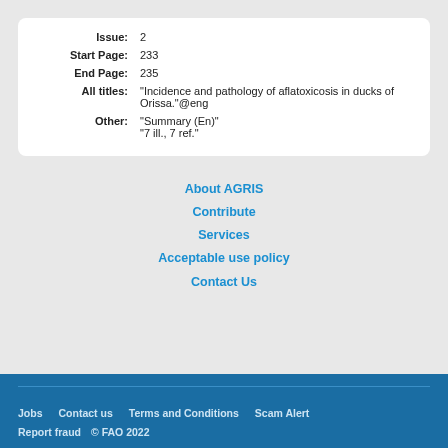| Issue: | 2 |
| Start Page: | 233 |
| End Page: | 235 |
| All titles: | "Incidence and pathology of aflatoxicosis in ducks of Orissa."@eng |
| Other: | "Summary (En)"
"7 ill., 7 ref." |
About AGRIS
Contribute
Services
Acceptable use policy
Contact Us
Jobs   Contact us   Terms and Conditions   Scam Alert   Report fraud   © FAO 2022